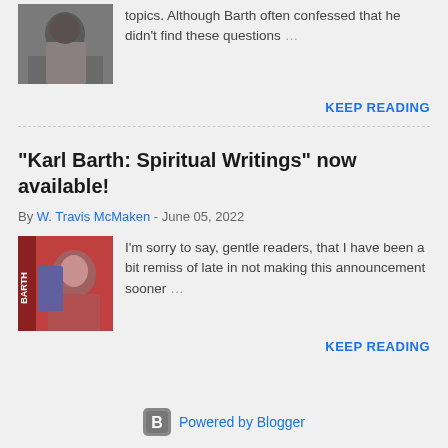topics. Although Barth often confessed that he didn't find these questions …
KEEP READING
"Karl Barth: Spiritual Writings" now available!
By W. Travis McMaken - June 05, 2022
I'm sorry to say, gentle readers, that I have been a bit remiss of late in not making this announcement sooner …
KEEP READING
Powered by Blogger